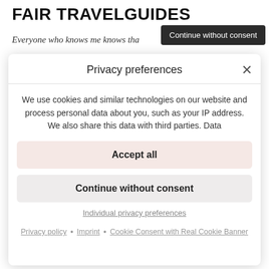FAIR TRAVELGUIDES
Everyone who knows me knows tha
Continue without consent
Privacy preferences
We use cookies and similar technologies on our website and process personal data about you, such as your IP address. We also share this data with third parties. Data
Accept all
Continue without consent
Individual privacy preferences
Privacy policy • Imprint • Cookie Consent with Real Cookie Banner